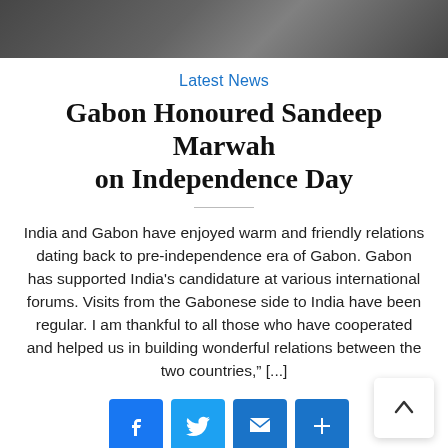[Figure (photo): Partial photo at top of page, dark background with some figures visible]
Latest News
Gabon Honoured Sandeep Marwah on Independence Day
India and Gabon have enjoyed warm and friendly relations dating back to pre-independence era of Gabon. Gabon has supported India’s candidature at various international forums. Visits from the Gabonese side to India have been regular. I am thankful to all those who have cooperated and helped us in building wonderful relations between the two countries,” [...]
[Figure (infographic): Social sharing buttons: Facebook, Twitter, Email, and More (+) icons in blue rounded squares, plus a scroll-to-top arrow button]